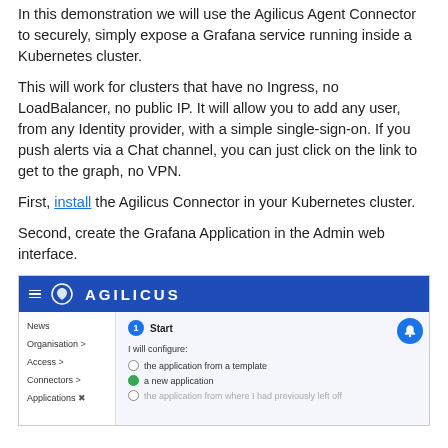In this demonstration we will use the Agilicus Agent Connector to securely, simply expose a Grafana service running inside a Kubernetes cluster.
This will work for clusters that have no Ingress, no LoadBalancer, no public IP. It will allow you to add any user, from any Identity provider, with a simple single-sign-on. If you push alerts via a Chat channel, you can just click on the link to get to the graph, no VPN.
First, install the Agilicus Connector in your Kubernetes cluster.
Second, create the Grafana Application in the Admin web interface.
[Figure (screenshot): Agilicus admin web interface screenshot showing navigation sidebar with News, Organisation, Access, Connectors, Applications items, and main area showing Step 1 Start with radio options: 'the application from a template', 'a new application' (selected), 'the application from where I had previously left off'.]